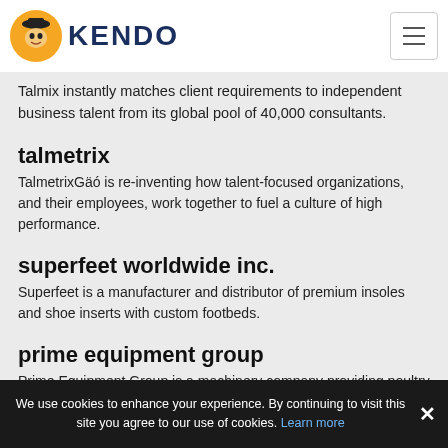[Figure (logo): Kendo logo with cartoon ninja/warrior mascot icon and KENDO text in dark navy bold letters]
Talmix instantly matches client requirements to independent business talent from its global pool of 40,000 consultants.
talmetrix
TalmetrixGäó is re-inventing how talent-focused organizations, and their employees, work together to fuel a culture of high performance.
superfeet worldwide inc.
Superfeet is a manufacturer and distributor of premium insoles and shoe inserts with custom footbeds.
prime equipment group
Prime Equipment Group is a machinery company providing poultry processing systems.
We use cookies to enhance your experience. By continuing to visit this site you agree to our use of cookies. Learn more